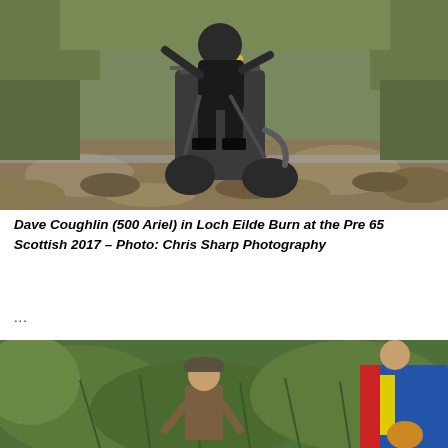[Figure (photo): A rider on a vintage motorcycle numbered 62 navigating through rocky terrain in Loch Eilde Burn, surrounded by Scottish highland vegetation including heather and grass. The rider is wearing dark gear and the motorcycle appears to be struggling through the rocky stream bed.]
Dave Coughlin (500 Ariel) in Loch Eilde Burn at the Pre 65 Scottish 2017 – Photo: Chris Sharp Photography
...
[Figure (photo): A person in a flat cap and brown jacket walking through dense green fern vegetation, with another person visible in the background wearing a blue and red jacket and holding a helmet.]